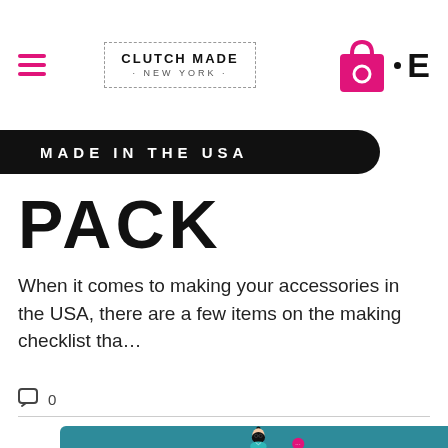CLUTCH MADE · NEW YORK
MADE IN THE USA
PACK
When it comes to making your accessories in the USA, there are a few items on the making checklist tha…
[Figure (illustration): Illustrated woman with black hair in a bun, wearing round glasses and a teal top, on a teal background, with a pink circle with ellipsis in the bottom right.]